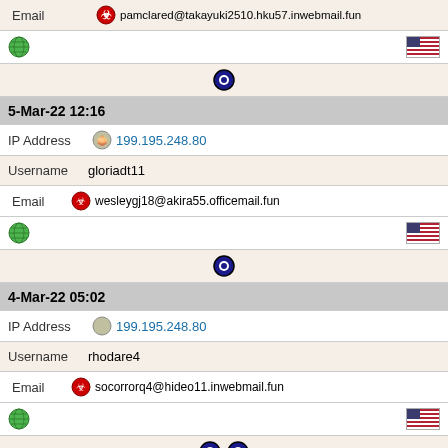Email pamclared@takayuki2510.hku57.inwebmail.fun
globe icon, US flag
open-access icon
5-Mar-22 12:16
IP Address 199.195.248.80
Username gloriadt11
Email wesleygj18@akira55.officemail.fun
globe icon, US flag
open-access icon
4-Mar-22 05:02
IP Address 199.195.248.80
Username rhodare4
Email socorrorq4@hideo11.inwebmail.fun
globe icon, US flag
open-access icons x2
2-Mar-22 21:16
IP Address 199.195.248.80